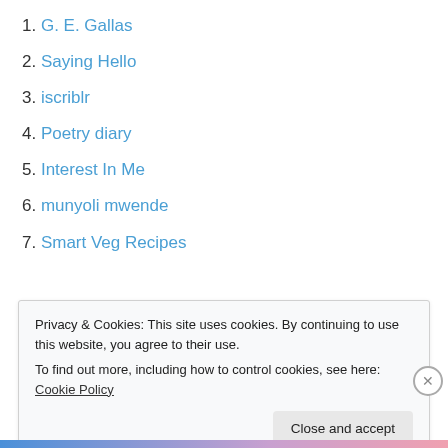1. G. E. Gallas
2. Saying Hello
3. iscriblr
4. Poetry diary
5. Interest In Me
6. munyoli mwende
7. Smart Veg Recipes
Privacy & Cookies: This site uses cookies. By continuing to use this website, you agree to their use.
To find out more, including how to control cookies, see here: Cookie Policy
Close and accept